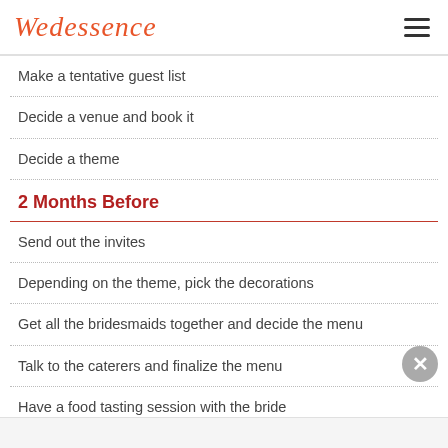Wedessence
Make a tentative guest list
Decide a venue and book it
Decide a theme
2 Months Before
Send out the invites
Depending on the theme, pick the decorations
Get all the bridesmaids together and decide the menu
Talk to the caterers and finalize the menu
Have a food tasting session with the bride